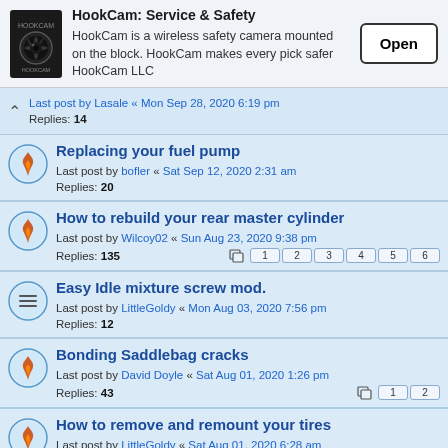[Figure (screenshot): HookCam advertisement banner with logo, description text, and Open button]
Last post by Lasale « Mon Sep 28, 2020 6:19 pm
Replies: 14
Replacing your fuel pump
Last post by bofler « Sat Sep 12, 2020 2:31 am
Replies: 20
How to rebuild your rear master cylinder
Last post by Wilcoy02 « Sun Aug 23, 2020 9:38 pm
Replies: 135
Easy Idle mixture screw mod.
Last post by LittleGoldy « Mon Aug 03, 2020 7:56 pm
Replies: 12
Bonding Saddlebag cracks
Last post by David Doyle « Sat Aug 01, 2020 1:26 pm
Replies: 43
How to remove and remount your tires
Last post by LittleGoldy « Sat Aug 01, 2020 6:28 am
Replies: 27
How to install a windshield vent
Last post by wetride « Wed Jul 22, 2020 9:59 am